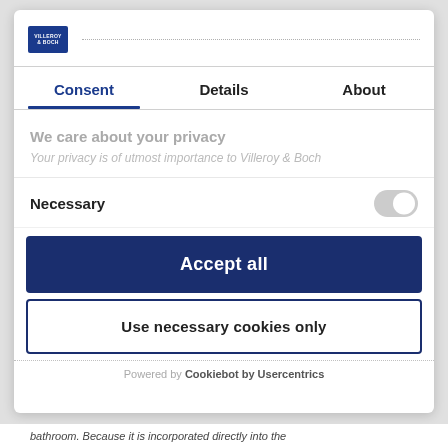[Figure (logo): Villeroy & Boch logo in dark blue rectangle]
Consent | Details | About
We care about your privacy
Your privacy is of utmost importance to Villeroy & Boch
Necessary
Accept all
Use necessary cookies only
Powered by Cookiebot by Usercentrics
bathroom. Because it is incorporated directly into the